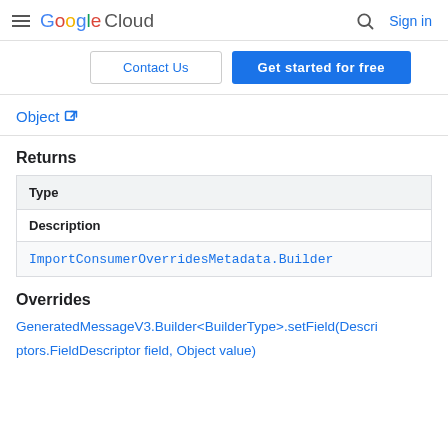Google Cloud  Sign in
Contact Us  Get started for free
Object
Returns
| Type |
| --- |
| Description |
| ImportConsumerOverridesMetadata.Builder |
Overrides
GeneratedMessageV3.Builder<BuilderType>.setField(Descriptors.FieldDescriptor field, Object value)